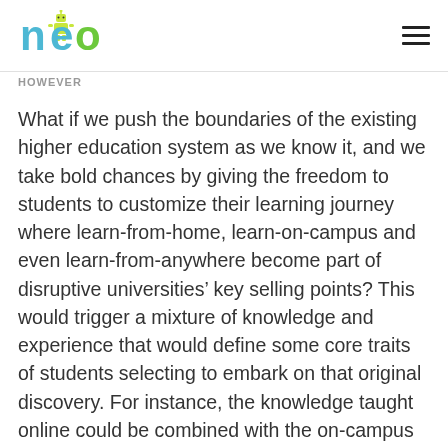NEO logo and navigation
HOWEVER
What if we push the boundaries of the existing higher education system as we know it, and we take bold chances by giving the freedom to students to customize their learning journey where learn-from-home, learn-on-campus and even learn-from-anywhere become part of disruptive universities’ key selling points? This would trigger a mixture of knowledge and experience that would define some core traits of students selecting to embark on that original discovery. For instance, the knowledge taught online could be combined with the on-campus experience together with peers or even workers at a coworking space, guaranteeing a 360-degree preparation. Hence,